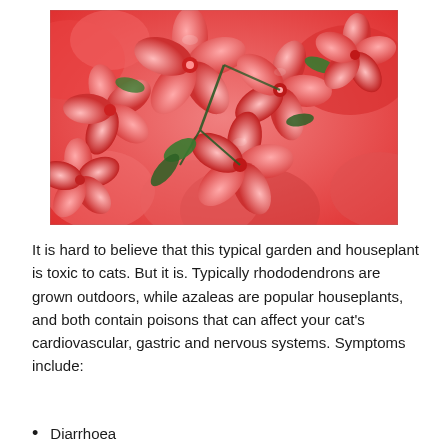[Figure (photo): Close-up photograph of bright red/coral azalea or rhododendron flowers in full bloom, with green leaves visible among the petals. The flowers fill the entire frame with a soft bokeh background.]
It is hard to believe that this typical garden and houseplant is toxic to cats. But it is. Typically rhododendrons are grown outdoors, while azaleas are popular houseplants, and both contain poisons that can affect your cat's cardiovascular, gastric and nervous systems. Symptoms include:
Diarrhoea